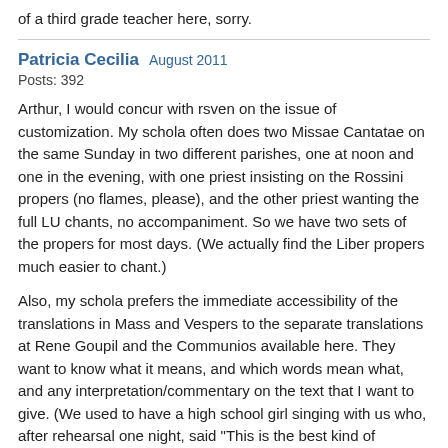of a third grade teacher here, sorry.
Patricia Cecilia   August 2011
Posts: 392
Arthur, I would concur with rsven on the issue of customization. My schola often does two Missae Cantatae on the same Sunday in two different parishes, one at noon and one in the evening, with one priest insisting on the Rossini propers (no flames, please), and the other priest wanting the full LU chants, no accompaniment. So we have two sets of the propers for most days. (We actually find the Liber propers much easier to chant.)
Also, my schola prefers the immediate accessibility of the translations in Mass and Vespers to the separate translations at Rene Goupil and the Communios available here. They want to know what it means, and which words mean what, and any interpretation/commentary on the text that I want to give. (We used to have a high school girl singing with us who, after rehearsal one night, said "This is the best kind of catechisis, way better than CCD!"; she was in the midst of her second year of pre-confirmation studies and bored silly.) I would also strongly agree with rsven that knowing what the individual words in the text mean is very helpful, both to learning and to singing with intelligent phrasing and beauty.
I don't mark the scores, though: I let everyone mark their own, and then